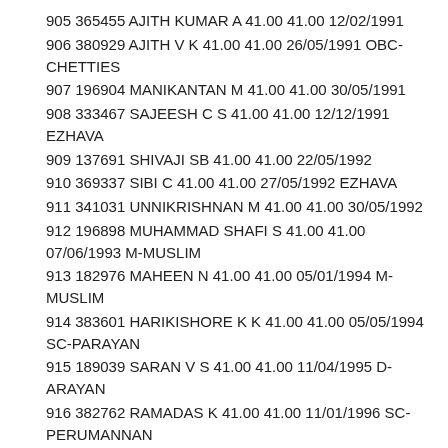905 365455 AJITH KUMAR A 41.00 41.00 12/02/1991
906 380929 AJITH V K 41.00 41.00 26/05/1991 OBC-CHETTIES
907 196904 MANIKANTAN M 41.00 41.00 30/05/1991
908 333467 SAJEESH C S 41.00 41.00 12/12/1991 EZHAVA
909 137691 SHIVAJI SB 41.00 41.00 22/05/1992
910 369337 SIBI C 41.00 41.00 27/05/1992 EZHAVA
911 341031 UNNIKRISHNAN M 41.00 41.00 30/05/1992
912 196898 MUHAMMAD SHAFI S 41.00 41.00 07/06/1993 M-MUSLIM
913 182976 MAHEEN N 41.00 41.00 05/01/1994 M-MUSLIM
914 383601 HARIKISHORE K K 41.00 41.00 05/05/1994 SC-PARAYAN
915 189039 SARAN V S 41.00 41.00 11/04/1995 D-ARAYAN
916 382762 RAMADAS K 41.00 41.00 11/01/1996 SC-PERUMANNAN
[AdSense-B]